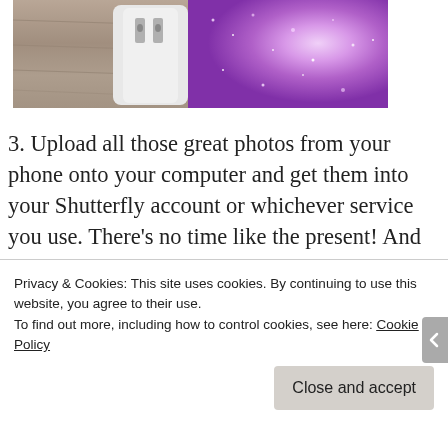[Figure (photo): Partial photo of a glittery purple phone charger/plug on a wooden surface, cropped at top]
3. Upload all those great photos from your phone onto your computer and get them into your Shutterfly account or whichever service you use. There's no time like the present! And here's a
Privacy & Cookies: This site uses cookies. By continuing to use this website, you agree to their use.
To find out more, including how to control cookies, see here: Cookie Policy
Close and accept